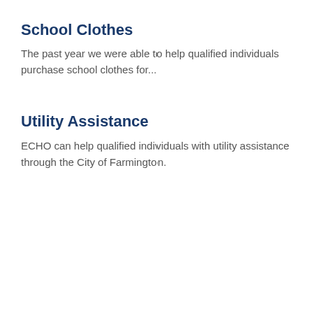School Clothes
The past year we were able to help qualified individuals purchase school clothes for...
Utility Assistance
ECHO can help qualified individuals with utility assistance through the City of Farmington.